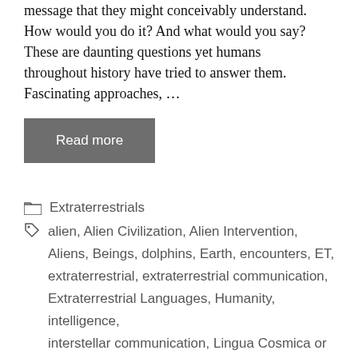message that they might conceivably understand. How would you do it? And what would you say? These are daunting questions yet humans throughout history have tried to answer them. Fascinating approaches, …
Read more
Extraterrestrials
alien, Alien Civilization, Alien Intervention, Aliens, Beings, dolphins, Earth, encounters, ET, extraterrestrial, extraterrestrial communication, Extraterrestrial Languages, Humanity, intelligence, interstellar communication, Lingua Cosmica or Lincos, Mars, Moon, Star Visitors, technology, UFO, UFO Incident, UFO Sightings, UFOs, USO